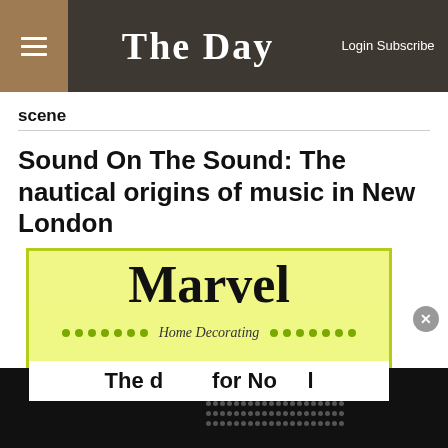The Day — Login Subscribe
scene
Sound On The Sound: The nautical origins of music in New London
[Figure (advertisement): Advertisement for Marvel Home Decorating with yellow-green chevron stripe background, brand name 'Marvel' in large serif font, 'Home Decorating' in italic script, green dot divider row, and partial text at bottom.]
[Figure (other): Dark overlay bar with black background on left and dotted pattern on right; close button (X) icon in grey circle.]